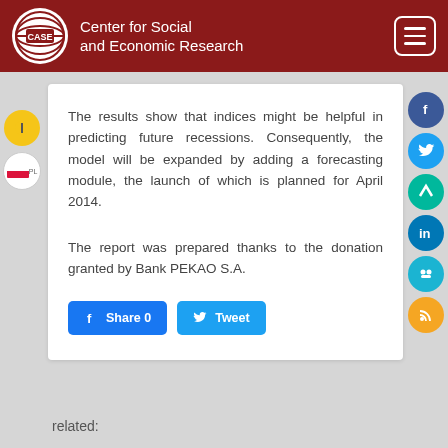Center for Social and Economic Research
The results show that indices might be helpful in predicting future recessions. Consequently, the model will be expanded by adding a forecasting module, the launch of which is planned for April 2014.
The report was prepared thanks to the donation granted by Bank PEKAO S.A.
related: